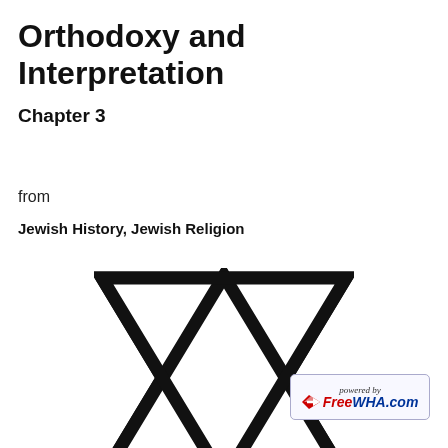Orthodoxy and Interpretation
Chapter 3
from
Jewish History, Jewish Religion
[Figure (illustration): Star of David (Magen David) symbol — two overlapping triangles forming a six-pointed star, drawn with thick black outlines on white background]
[Figure (logo): FreeWHA.com powered by logo watermark in bottom right corner]